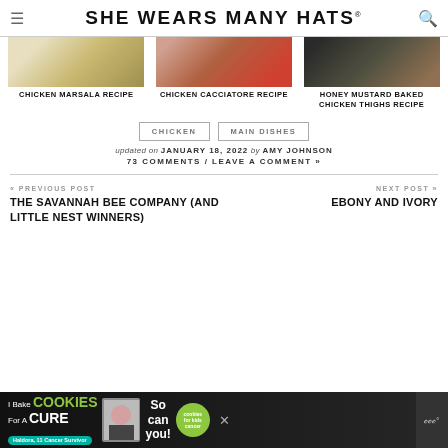SHE WEARS MANY HATS
[Figure (photo): Three food photos: Chicken Marsala, Chicken Cacciatore, Honey Mustard Baked Chicken Thighs]
CHICKEN MARSALA RECIPE
CHICKEN CACCIATORE RECIPE
HONEY MUSTARD BAKED CHICKEN THIGHS RECIPE
CHICKEN
MAIN DISHES
updated on JANUARY 18, 2022 by AMY JOHNSON
73 COMMENTS / LEAVE A COMMENT »
« PREVIOUS POST
THE SAVANNAH BEE COMPANY (AND LITTLE NEST WINNERS)
NEXT POST »
EBONY AND IVORY
[Figure (other): Advertisement banner: I Bake COOKIES for A CURE - Haldora, 11 Cancer Survivor - So can you! - cookies for kids cancer]